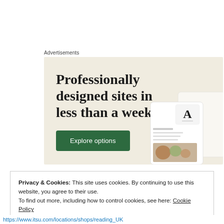Advertisements
[Figure (screenshot): Advertisement banner with cream/beige background. Large serif text reads 'Professionally designed sites in less than a week'. A dark green button says 'Explore options'. On the right side are mockup screenshots of websites including one with an 'A' logo and food photography.]
Privacy & Cookies: This site uses cookies. By continuing to use this website, you agree to their use.
To find out more, including how to control cookies, see here: Cookie Policy
Close and accept
https://www.itsu.com/locations/shops/reading_UK